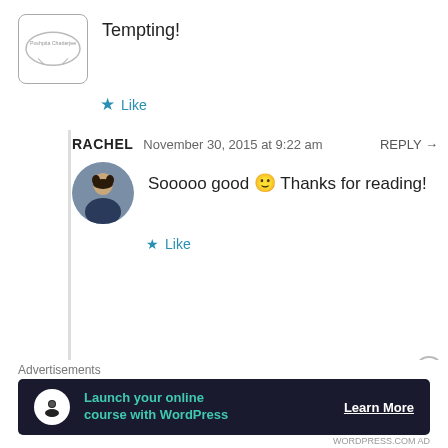Tempting!
Like
RACHEL  November 30, 2015 at 9:22 am  REPLY →
Sooooo good 🙂 Thanks for reading!
Like
KOOLAIDMOMS  November 23, 2015 at 6:45 am  REPLY →
Looks delicious!
[Figure (infographic): Advertisement banner: Launch your online course with WordPress - Learn More]
Advertisements